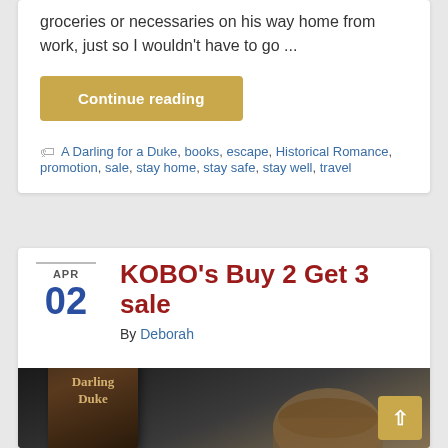groceries or necessaries on his way home from work, just so I wouldn't have to go ...
Continue reading
A Darling for a Duke, books, escape, Historical Romance, promotion, sale, stay home, stay safe, stay well, travel
KOBO's Buy 2 Get 3 sale
By Deborah
[Figure (photo): Book cover for Darling Duke with decorative background showing a coffee cup and dark atmospheric setting]